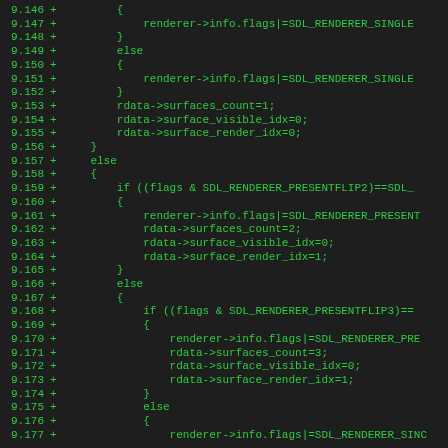Code diff showing SDL renderer surface initialization logic, lines 9.146-9.177